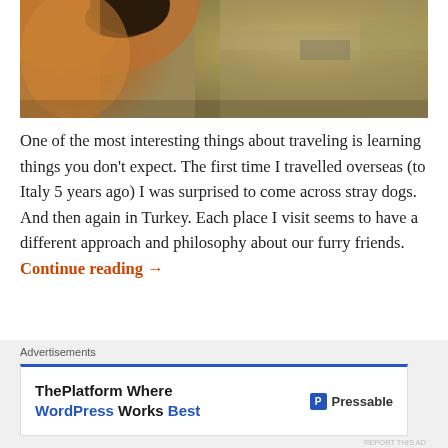[Figure (photo): Close-up photo of a dog's face/nose from above, with a blurred outdoor background]
One of the most interesting things about traveling is learning things you don't expect. The first time I travelled overseas (to Italy 5 years ago) I was surprised to come across stray dogs. And then again in Turkey. Each place I visit seems to have a different approach and philosophy about our furry friends. Continue reading →
leave a comment
Advertisements
ThePlatform Where WordPress Works Best   Pressable